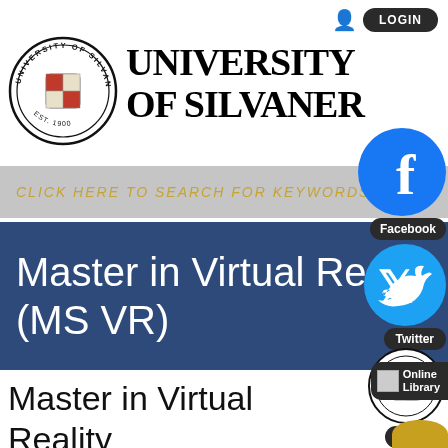[Figure (screenshot): University of Silvaner website screenshot showing login button, university seal, university name, Facebook and Twitter social icons, search bar, blue banner with MS VR title, and navigation buttons]
LOGIN
[Figure (logo): University of Silvaner circular seal/logo]
UNIVERSITY OF SILVANER
CLICK HERE TO SEARCH FOR KEYWORDS
Master in Virtual Reality (MS VR)
Facebook
Twitter
Home
Online Library
Master in Virtual Reality (MS VR)